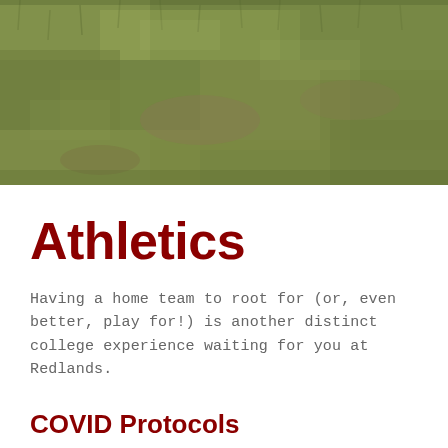[Figure (photo): Aerial close-up photograph of green grass field, likely a sports field at University of Redlands.]
Athletics
Having a home team to root for (or, even better, play for!) is another distinct college experience waiting for you at Redlands.
COVID Protocols
(partially visible text at bottom)